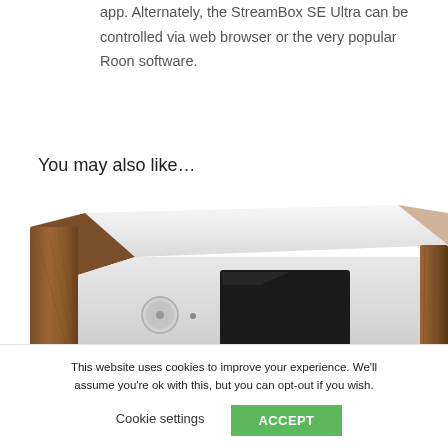app. Alternately, the StreamBox SE Ultra can be controlled via web browser or the very popular Roon software.
You may also like…
[Figure (photo): Photo of a hi-fi audio device (StreamBox SE Ultra) with white metal casing, dark square display on front, circular control knob, and walnut wood side panels, viewed from a slight angle.]
This website uses cookies to improve your experience. We'll assume you're ok with this, but you can opt-out if you wish.
Cookie settings   ACCEPT